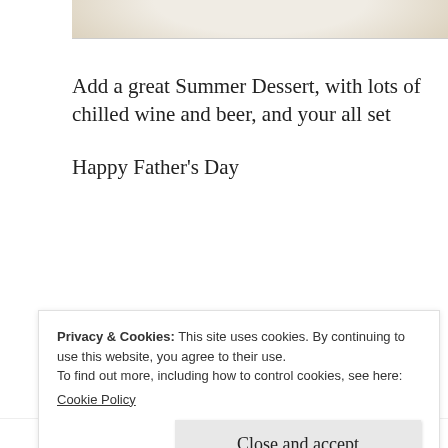[Figure (photo): Bottom edge of a white ceramic plate or bowl on a light background, partial view at top of page]
Add a great Summer Dessert, with lots of chilled wine and beer, and your all set
Happy Father's Day
Privacy & Cookies: This site uses cookies. By continuing to use this website, you agree to their use.
To find out more, including how to control cookies, see here:
Cookie Policy
Close and accept
Uncategorized / Leave a comment